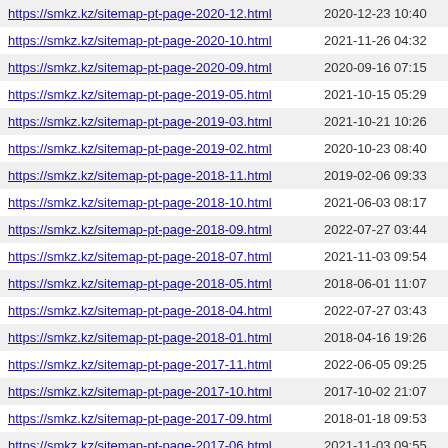| https://smkz.kz/sitemap-pt-page-2020-12.html | 2020-12-23 10:40 |
| https://smkz.kz/sitemap-pt-page-2020-10.html | 2021-11-26 04:32 |
| https://smkz.kz/sitemap-pt-page-2020-09.html | 2020-09-16 07:15 |
| https://smkz.kz/sitemap-pt-page-2019-05.html | 2021-10-15 05:29 |
| https://smkz.kz/sitemap-pt-page-2019-03.html | 2021-10-21 10:26 |
| https://smkz.kz/sitemap-pt-page-2019-02.html | 2020-10-23 08:40 |
| https://smkz.kz/sitemap-pt-page-2018-11.html | 2019-02-06 09:33 |
| https://smkz.kz/sitemap-pt-page-2018-10.html | 2021-06-03 08:17 |
| https://smkz.kz/sitemap-pt-page-2018-09.html | 2022-07-27 03:44 |
| https://smkz.kz/sitemap-pt-page-2018-07.html | 2021-11-03 09:54 |
| https://smkz.kz/sitemap-pt-page-2018-05.html | 2018-06-01 11:07 |
| https://smkz.kz/sitemap-pt-page-2018-04.html | 2022-07-27 03:43 |
| https://smkz.kz/sitemap-pt-page-2018-01.html | 2018-04-16 19:26 |
| https://smkz.kz/sitemap-pt-page-2017-11.html | 2022-06-05 09:25 |
| https://smkz.kz/sitemap-pt-page-2017-10.html | 2017-10-02 21:07 |
| https://smkz.kz/sitemap-pt-page-2017-09.html | 2018-01-18 09:53 |
| https://smkz.kz/sitemap-pt-page-2017-06.html | 2021-11-03 09:55 |
| https://smkz.kz/sitemap-pt-page-2017-05.html | 2021-11-03 09:56 |